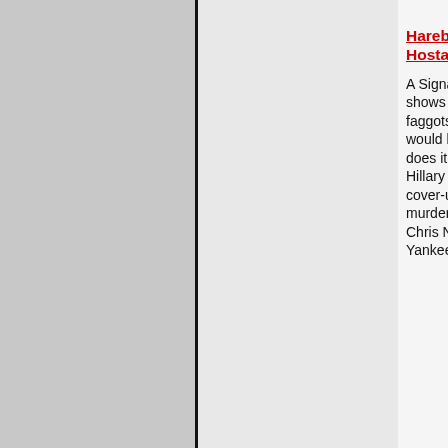Activism
Harebrained, Hysterical Hillary Hosta VS. Yankee Jim (R.I.P.)...
A Signal Production Yankee Jim shows how to debate antis (pinko faggots) and come out winning. It would be best to take note of how he does it. :cool: Left-wing basketcase Hillary Hosta supports the media cover-up of the brutal rape and murders of Channon Christian and Chris Newsom and greets VNN's own Yankee Jim at